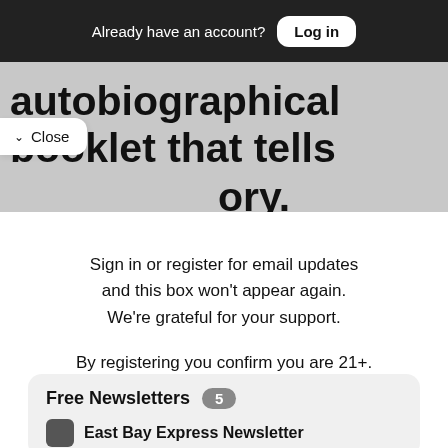Already have an account? Log in
autobiographical booklet that tells …ory.
Close
Sign in or register for email updates and this box won't appear again. We're grateful for your support.
By registering you confirm you are 21+.
Free Newsletters 5
East Bay Express Newsletter